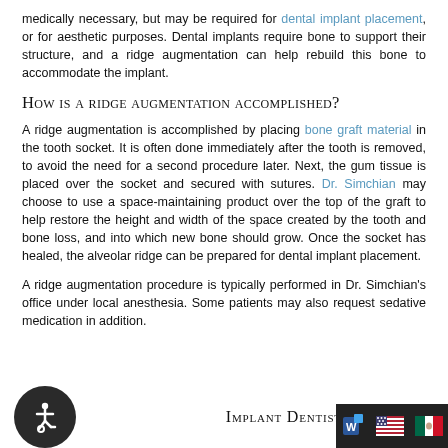medically necessary, but may be required for dental implant placement, or for aesthetic purposes. Dental implants require bone to support their structure, and a ridge augmentation can help rebuild this bone to accommodate the implant.
How is a ridge augmentation accomplished?
A ridge augmentation is accomplished by placing bone graft material in the tooth socket. It is often done immediately after the tooth is removed, to avoid the need for a second procedure later. Next, the gum tissue is placed over the socket and secured with sutures. Dr. Simchian may choose to use a space-maintaining product over the top of the graft to help restore the height and width of the space created by the tooth and bone loss, and into which new bone should grow. Once the socket has healed, the alveolar ridge can be prepared for dental implant placement.
A ridge augmentation procedure is typically performed in Dr. Simchian's office under local anesthesia. Some patients may also request sedative medication in addition.
[Figure (logo): Accessibility wheelchair icon in dark circular badge, followed by 'Implant Dentistry' small-caps text, and language flag icons (Word, US flag, Mexico flag) in dark bar at bottom right.]